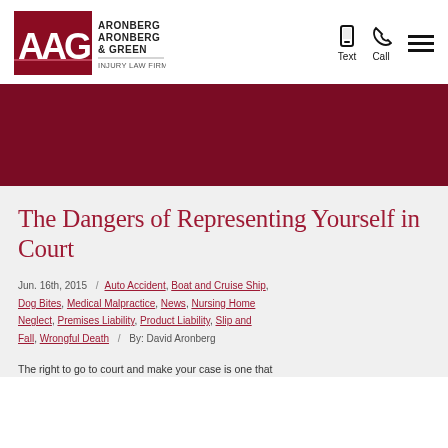[Figure (logo): Aronberg Aronberg & Green Injury Law Firm logo with AAG letters in red and white boxes]
Text  Call  [hamburger menu]
[Figure (other): Dark red/maroon decorative banner strip]
The Dangers of Representing Yourself in Court
Jun. 16th, 2015  /  Auto Accident, Boat and Cruise Ship, Dog Bites, Medical Malpractice, News, Nursing Home Neglect, Premises Liability, Product Liability, Slip and Fall, Wrongful Death /  By: David Aronberg
The right to go to court and make your case is one that